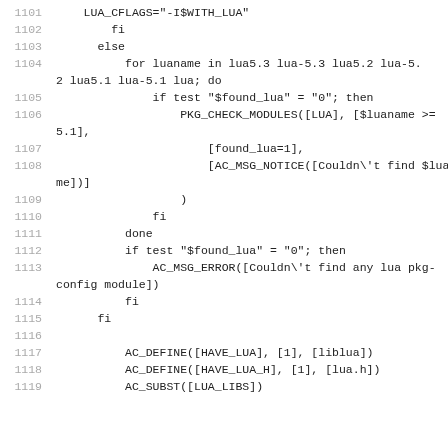Code listing lines 1101-1119 showing shell script with Lua configuration checks
1101   LUA_CFLAGS="-I$WITH_LUA"
1102       fi
1103     else
1104         for luaname in lua5.3 lua-5.3 lua5.2 lua-5.2 lua5.1 lua-5.1 lua; do
1105             if test "$found_lua" = "0"; then
1106                 PKG_CHECK_MODULES([LUA], [$luaname >= 5.1],
1107                     [found_lua=1],
1108                     [AC_MSG_NOTICE([Couldn\'t find $luaname])]
1109                 )
1110             fi
1111         done
1112         if test "$found_lua" = "0"; then
1113             AC_MSG_ERROR([Couldn\'t find any lua pkg-config module])
1114         fi
1115     fi
1116
1117         AC_DEFINE([HAVE_LUA], [1], [liblua])
1118         AC_DEFINE([HAVE_LUA_H], [1], [lua.h])
1119         AC_SUBST([LUA_LIBS])